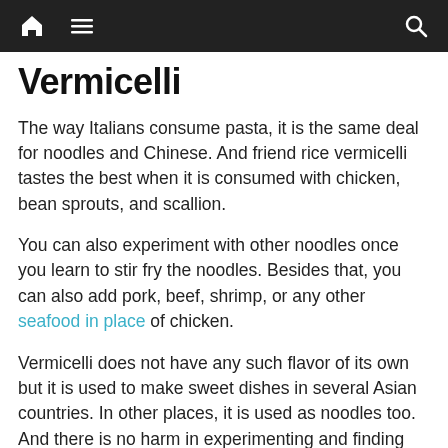Navigation bar with home, menu, and search icons
Vermicelli
The way Italians consume pasta, it is the same deal for noodles and Chinese. And friend rice vermicelli tastes the best when it is consumed with chicken, bean sprouts, and scallion.
You can also experiment with other noodles once you learn to stir fry the noodles. Besides that, you can also add pork, beef, shrimp, or any other seafood in place of chicken.
Vermicelli does not have any such flavor of its own but it is used to make sweet dishes in several Asian countries. In other places, it is used as noodles too. And there is no harm in experimenting and finding out about new dishes. So take out some time, and